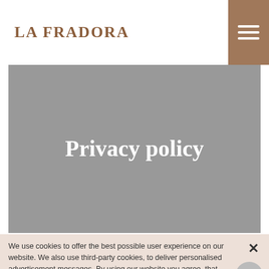LA FRADORA
[Figure (other): Gray hero banner with Privacy policy title text centered in white bold serif font]
Privacy policy
We use cookies to offer the best possible user experience on our website. We also use third-party cookies, to deliver personalised advertisement messages. By using our website you agree, that cookies can be saved on your device. Further information on the cookies used and on how to disable them can be found here.